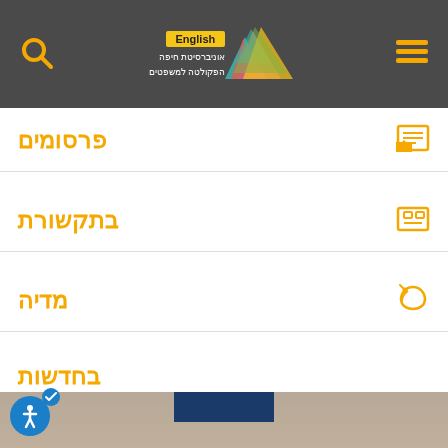University of Haifa - Faculty of Law | English
פרסומים
בתקשורת
מדיה
בחדשות
[Figure (photo): Photo of a smiling bearded man in a blue shirt, seated at what appears to be a desk or podium]